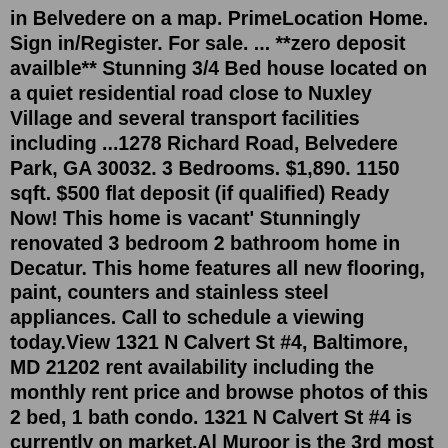in Belvedere on a map. PrimeLocation Home. Sign in/Register. For sale. ... **zero deposit availble** Stunning 3/4 Bed house located on a quiet residential road close to Nuxley Village and several transport facilities including ...1278 Richard Road, Belvedere Park, GA 30032. 3 Bedrooms. $1,890. 1150 sqft. $500 flat deposit (if qualified) Ready Now! This home is vacant' Stunningly renovated 3 bedroom 2 bathroom home in Decatur. This home features all new flooring, paint, counters and stainless steel appliances. Call to schedule a viewing today.View 1321 N Calvert St #4, Baltimore, MD 21202 rent availability including the monthly rent price and browse photos of this 2 bed, 1 bath condo. 1321 N Calvert St #4 is currently on market.Al Muroor is the 3rd most popular area to rent affordable apartments in Abu Dhabi with annual prices starting AED 35k, on average. On the other side, the area is quite popular for housing 3, 4 and 5-bed villas offered at affordable price points. POPULAR AREAS. 3-BED. Avg. Yearly RentChange